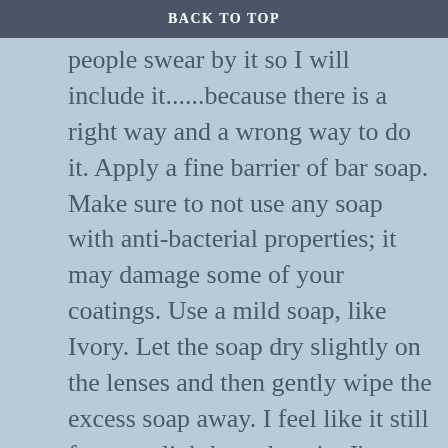BACK TO TOP
don't think we need it, but some people swear by it so I will include it......because there is a right way and a wrong way to do it.  Apply a fine barrier of bar soap.  Make sure to not use any soap with anti-bacterial properties; it may damage some of your coatings.  Use a mild soap, like Ivory.  Let the soap dry slightly on the lenses and then gently wipe the excess soap away.  I feel like it still fogs up slightly and again, I'm a scent person.  I can smell the soap when I put them back on and I don't want to smell the soap.